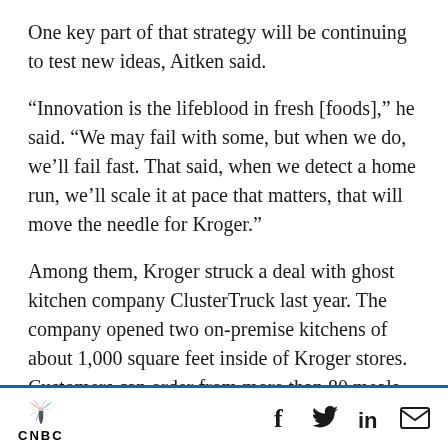One key part of that strategy will be continuing to test new ideas, Aitken said.
“Innovation is the lifeblood in fresh [foods],” he said. “We may fail with some, but when we do, we’ll fail fast. That said, when we detect a home run, we’ll scale it at pace that matters, that will move the needle for Kroger.”
Among them, Kroger struck a deal with ghost kitchen company ClusterTruck last year. The company opened two on-premise kitchens of about 1,000 square feet inside of Kroger stores. Customers can order from more than 80 meals,
CNBC